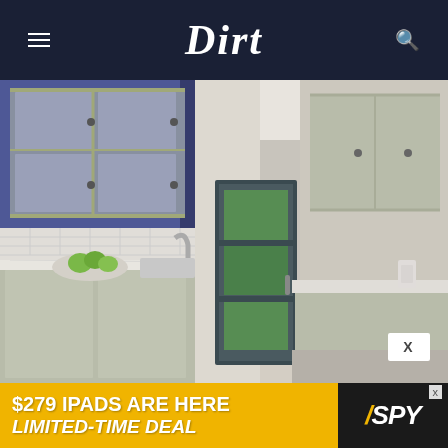Dirt
[Figure (photo): Interior photo of a narrow butler's pantry/kitchen hallway with glass-front cabinets lit with blue-purple LED lighting on the left, white subway tile backsplash, marble countertop with a bowl of limes, a sink with a faucet, lower white cabinets, and a dark-framed glass exterior door at the end showing green foliage outside. Right side has white lower cabinets with marble countertop.]
[Figure (advertisement): Advertisement banner: '$279 IPADS ARE HERE LIMITED-TIME DEAL' with SPY logo on dark background, on a yellow background]